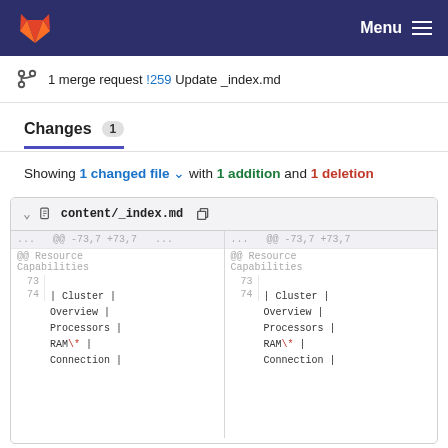GitLab — Menu
1 merge request !259 Update _index.md
Changes 1
Showing 1 changed file with 1 addition and 1 deletion
| line | code (left) | line | code (right) |
| --- | --- | --- | --- |
| ... | @@ -73,7 +73,7 ... | ... | @@ -73,7 +73,7 |
|  | @@ Resource Capabilities |  | @@ Resource Capabilities |
| 73 |  | 73 |  |
| 74 | | Cluster | Overview | Processors | RAM\* | Connection | | 74 | | Cluster | Overview | Processors | RAM\* | Connection | |